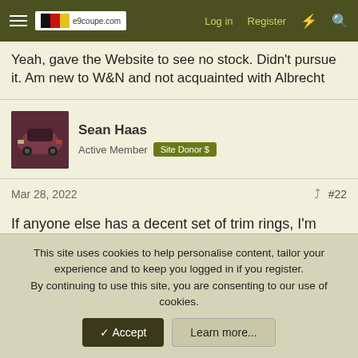e9coupe.com — Log in   Register
Yeah, gave the Website to see no stock. Didn't pursue it. Am new to W&N and not acquainted with Albrecht
Sean Haas
Active Member  Site Donor $
Mar 28, 2022
#22
If anyone else has a decent set of trim rings, I'm potentially interested.
bavbob
Well-Known Member  Site Donor
This site uses cookies to help personalise content, tailor your experience and to keep you logged in if you register.
By continuing to use this site, you are consenting to our use of cookies.